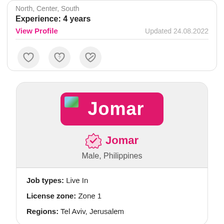North, Center, South
Experience: 4 years
View Profile
Updated 24.08.2022
[Figure (illustration): Three circular icon buttons: heart (favorite), heart with question mark (maybe), heart with checkmark/strikethrough (not interested)]
[Figure (illustration): Profile card for Jomar. Pink/magenta banner with name Jomar and a small landscape thumbnail. Verified badge icon next to name. Text: Male, Philippines.]
Job types: Live In
License zone: Zone 1
Regions: Tel Aviv, Jerusalem